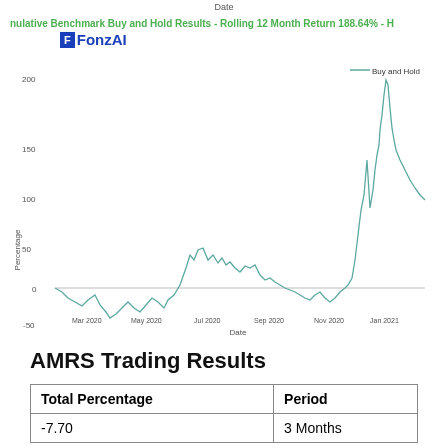Date
nulative Benchmark Buy and Hold Results - Rolling 12 Month Return 188.64% - H
[Figure (line-chart): Line chart showing Buy and Hold percentage returns over time from Mar 2020 to Jan 2021. The line starts near 0, dips negative, rises to peaks around Jul 2020 (~50%), then falls, and spikes dramatically near Jan 2021 to above 200%.]
AMRS Trading Results
| Total Percentage | Period |
| --- | --- |
| -7.70 | 3 Months |